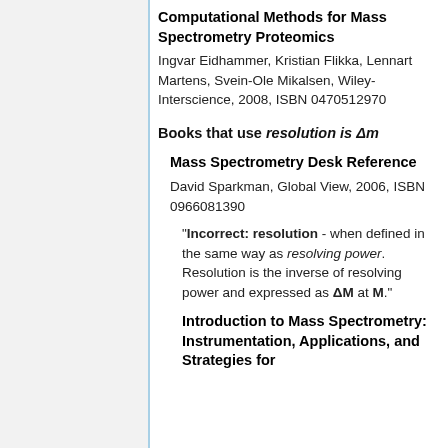Computational Methods for Mass Spectrometry Proteomics
Ingvar Eidhammer, Kristian Flikka, Lennart Martens, Svein-Ole Mikalsen, Wiley-Interscience, 2008, ISBN 0470512970
Books that use resolution is Δm
Mass Spectrometry Desk Reference
David Sparkman, Global View, 2006, ISBN 0966081390
"Incorrect: resolution - when defined in the same way as resolving power. Resolution is the inverse of resolving power and expressed as ΔM at M."
Introduction to Mass Spectrometry: Instrumentation, Applications, and Strategies for